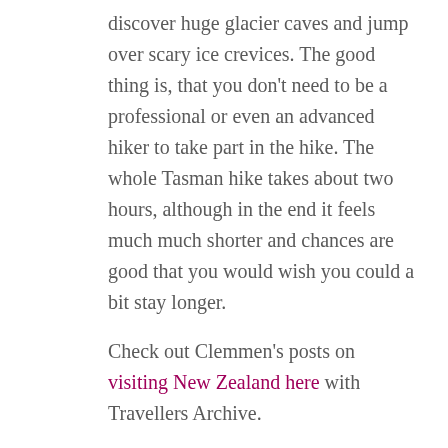discover huge glacier caves and jump over scary ice crevices. The good thing is, that you don't need to be a professional or even an advanced hiker to take part in the hike. The whole Tasman hike takes about two hours, although in the end it feels much much shorter and chances are good that you would wish you could a bit stay longer.
Check out Clemmen's posts on visiting New Zealand here with Travellers Archive.
Facebook